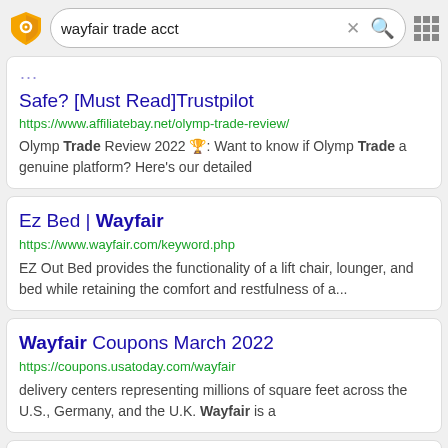[Figure (screenshot): Search bar with shield logo, query 'wayfair trade acct', X clear button, red magnifying glass search icon, and grid icon]
Safe? [Must Read]Trustpilot
https://www.affiliatebay.net/olymp-trade-review/
Olymp Trade Review 2022 🏆: Want to know if Olymp Trade a genuine platform? Here's our detailed
Ez Bed | Wayfair
https://www.wayfair.com/keyword.php
EZ Out Bed provides the functionality of a lift chair, lounger, and bed while retaining the comfort and restfulness of a...
Wayfair Coupons March 2022
https://coupons.usatoday.com/wayfair
delivery centers representing millions of square feet across the U.S., Germany, and the U.K. Wayfair is a